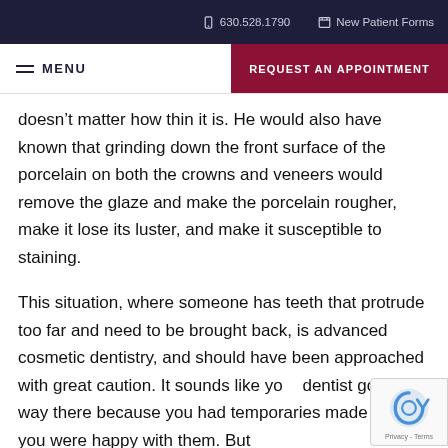630.528.1790   New Patient Forms
MENU   REQUEST AN APPOINTMENT
doesn’t matter how thin it is. He would also have known that grinding down the front surface of the porcelain on both the crowns and veneers would remove the glaze and make the porcelain rougher, make it lose its luster, and make it susceptible to staining.
This situation, where someone has teeth that protrude too far and need to be brought back, is advanced cosmetic dentistry, and should have been approached with great caution. It sounds like your dentist got part way there because you had temporaries made and you were happy with them. But